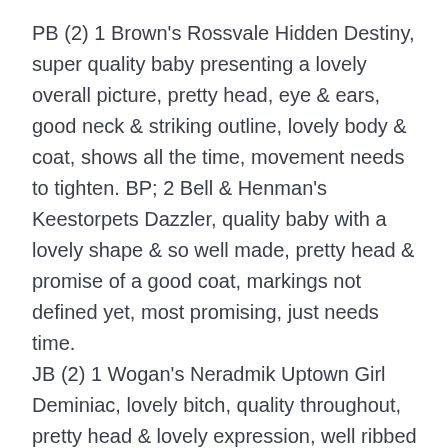PB (2) 1 Brown's Rossvale Hidden Destiny, super quality baby presenting a lovely overall picture, pretty head, eye & ears, good neck & striking outline, lovely body & coat, shows all the time, movement needs to tighten. BP; 2 Bell & Henman's Keestorpets Dazzler, quality baby with a lovely shape & so well made, pretty head & promise of a good coat, markings not defined yet, most promising, just needs time.
JB (2) 1 Wogan's Neradmik Uptown Girl Deminiac, lovely bitch, quality throughout, pretty head & lovely expression, well ribbed with good neck & short back, super tailset, shown in full coat, lovely size yet so feminine, sound brisk mover. CC & BOB; 2 Gregory's Amikirs Bubblelicious, this girl shows for England, pretty head, darkest of eyes,